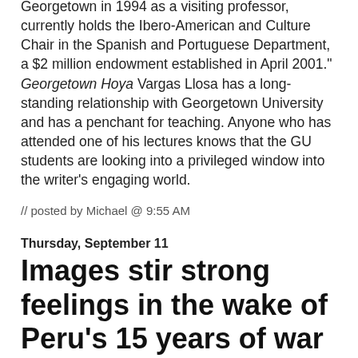Georgetown in 1994 as a visiting professor, currently holds the Ibero-American and Culture Chair in the Spanish and Portuguese Department, a $2 million endowment established in April 2001." Georgetown Hoya Vargas Llosa has a long-standing relationship with Georgetown University and has a penchant for teaching. Anyone who has attended one of his lectures knows that the GU students are looking into a privileged window into the writer's engaging world.
// posted by Michael @ 9:55 AM
Thursday, September 11
Images stir strong feelings in the wake of Peru's 15 years of war
Blame and Shame on Display in Peru: "By assigning blame for the war, the